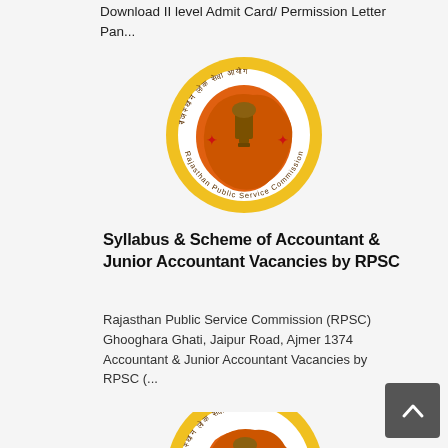Download II level Admit Card/ Permission Letter Pan...
[Figure (logo): Rajasthan Public Service Commission (RPSC) circular emblem with orange map of Rajasthan, lion capital, yellow border with Hindi text]
Syllabus & Scheme of Accountant & Junior Accountant Vacancies by RPSC
Rajasthan Public Service Commission (RPSC) Ghooghara Ghati, Jaipur Road, Ajmer 1374 Accountant & Junior Accountant Vacancies by RPSC (...
[Figure (logo): Rajasthan Public Service Commission (RPSC) circular emblem with orange map of Rajasthan, lion capital, yellow border with Hindi text (partial, bottom of page)]